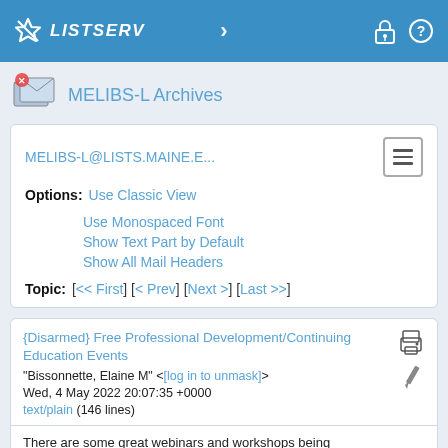LISTSERV
MELIBS-L Archives
MELIBS-L@LISTS.MAINE.E...
Options: Use Classic View
Use Monospaced Font
Show Text Part by Default
Show All Mail Headers
Topic: [<< First] [< Prev] [Next >] [Last >>]
{Disarmed} Free Professional Development/Continuing Education Events
"Bissonnette, Elaine M" <[log in to unmask]>
Wed, 4 May 2022 20:07:35 +0000
text/plain (146 lines)
There are some great webinars and workshops being